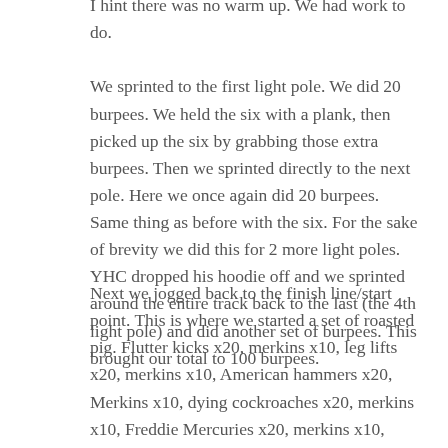I hint there was no warm up. We had work to do. We sprinted to the first light pole. We did 20 burpees. We held the six with a plank, then picked up the six by grabbing those extra burpees. Then we sprinted directly to the next pole. Here we once again did 20 burpees. Same thing as before with the six. For the sake of brevity we did this for 2 more light poles. YHC dropped his hoodie off and we sprinted around the entire track back to the last (the 4th light pole) and did another set of burpees. This brought our total to 100 burpees.
Next we jogged back to the finish line/start point. This is where we started a set of roasted pig. Flutter kicks x20, merkins x10, leg lifts x20, merkins x10, American hammers x20, Merkins x10, dying cockroaches x20, merkins x10, Freddie Mercuries x20, merkins x10,